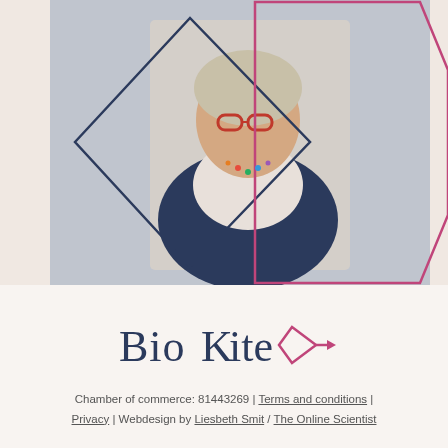[Figure (photo): Professional headshot of a smiling woman with short curly blonde hair, red round glasses, and a colorful necklace, wearing a navy blazer over a light top. She stands in front of a modern building with geometric lattice structure. The photo is framed within overlapping diamond and hexagon shapes outlined in dark navy and pink.]
[Figure (logo): BioKite logo: the word 'BioKite' in dark navy serif font with a pink diamond/kite shape to the right of the 'K'.]
Chamber of commerce: 81443269 | Terms and conditions | Privacy | Webdesign by Liesbeth Smit / The Online Scientist